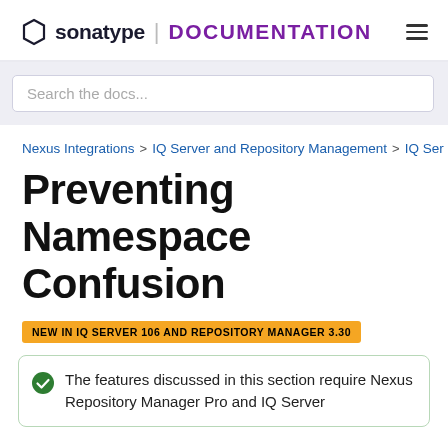sonatype | DOCUMENTATION
Search the docs...
Nexus Integrations > IQ Server and Repository Management > IQ Ser
Preventing Namespace Confusion
NEW IN IQ SERVER 106 AND REPOSITORY MANAGER 3.30
The features discussed in this section require Nexus Repository Manager Pro and IQ Server